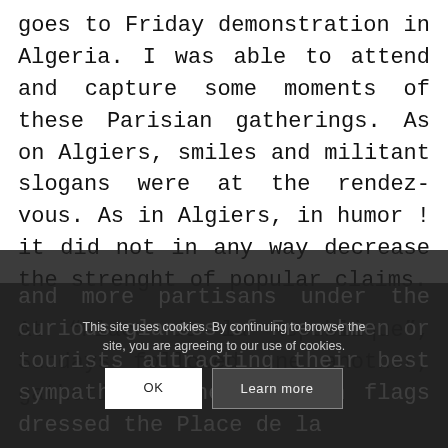goes to Friday demonstration in Algeria. I was able to attend and capture some moments of these Parisian gatherings. As on Algiers, smiles and militant slogans were at the rendez-vous. As in Algiers, in humor ! it did not in any way decrease the strenght of popular claims.

At “Place de la Republique", Sundays followed one another, gathering more and more partisans under the curious glances of Frenchmen or tourists attracting their best sympathies. The Algerian flags dressed the Place de la
This site uses cookies. By continuing to browse the site, you are agreeing to our use of cookies.